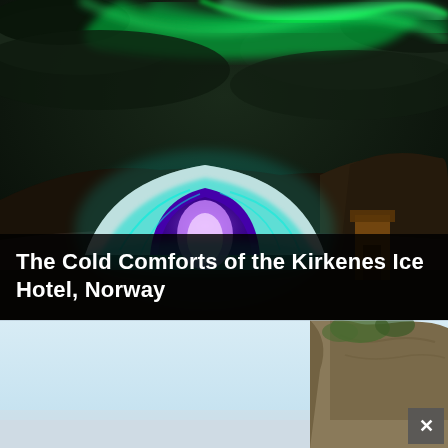[Figure (photo): Night photo of the Kirkenes Snow Hotel in Norway, showing an illuminated ice dome entrance glowing in teal and blue-purple light, set against a dramatic sky with green Northern Lights (aurora borealis). A wooden structure is visible to the right, with rocky hills in the background.]
The Cold Comforts of the Kirkenes Ice Hotel, Norway
[Figure (photo): Daytime landscape photo showing a pale blue sky and rocky cliff face with some greenery on the right side. The bottom portion appears to be a partially loaded or cropped second image with light blue-grey tones.]